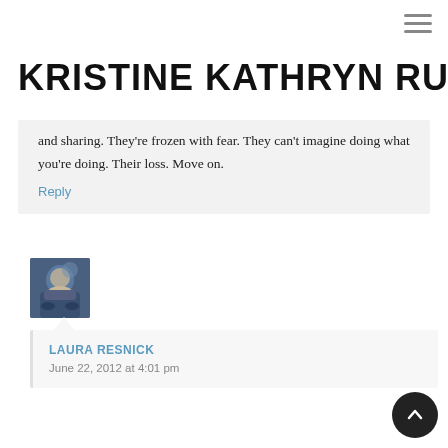KRISTINE KATHRYN RUSCH
and sharing. They're frozen with fear. They can't imagine doing what you're doing. Their loss. Move on.
Reply
[Figure (photo): Avatar image of a person in winter gear]
LAURA RESNICK
June 22, 2012 at 4:01 pm